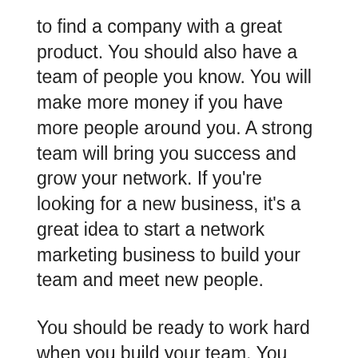to find a company with a great product. You should also have a team of people you know. You will make more money if you have more people around you. A strong team will bring you success and grow your network. If you're looking for a new business, it's a great idea to start a network marketing business to build your team and meet new people.
You should be ready to work hard when you build your team. You need to hire a team of people who will help you run your business. After you have built a strong team, it will be easy to recruit new distributors and recruit new members. Your network marketing business will be a success when you reach the right people with the right product. This will give your business a boost and make